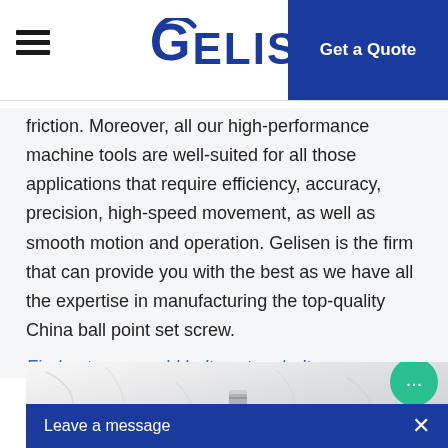Gelisen | Get a Quote
friction. Moreover, all our high-performance machine tools are well-suited for all those applications that require efficiency, accuracy, precision, high-speed movement, as well as smooth motion and operation. Gelisen is the firm that can provide you with the best as we have all the expertise in manufacturing the top-quality China ball point set screw.
Find out more weld bolt,custom bolt .
[Figure (photo): Close-up photo of a small metal screw/bolt against a white crumpled paper or textured background]
Leave a message